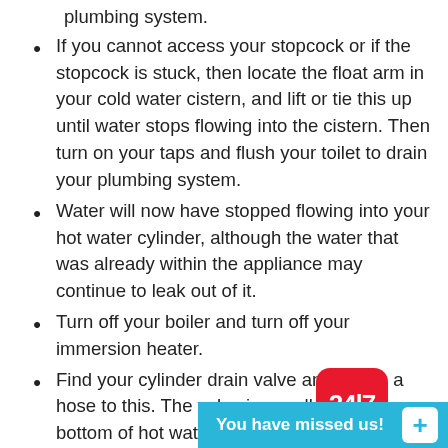Then turn on all the taps in your home to drain your plumbing system.
If you cannot access your stopcock or if the stopcock is stuck, then locate the float arm in your cold water cistern, and lift or tie this up until water stops flowing into the cistern. Then turn on your taps and flush your toilet to drain your plumbing system.
Water will now have stopped flowing into your hot water cylinder, although the water that was already within the appliance may continue to leak out of it.
Turn off your boiler and turn off your immersion heater.
Find your cylinder drain valve and attach a hose to this. The valve is usually at the bottom of hot water cylinders, where the cold water supply pipe enters the appliance.
Put the other end of the hose where suitable, such as an outside drain or you'll be flowing out of it when you tu...
[Figure (other): 24/7 chat widget overlay with red badge showing '24|7' and blue bar showing 'You have missed us!' with a + button]